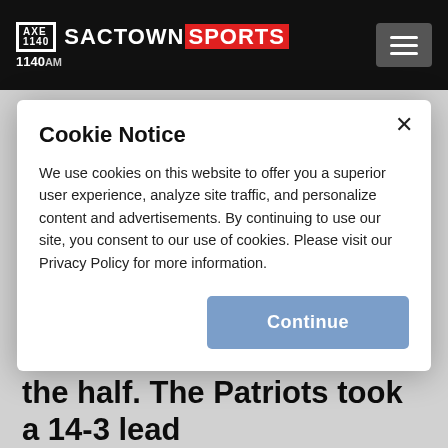SACTOWN SPORTS 1140AM
The Law touchdown settled the Patriots down a bit. The Patriots defense was bending at that point but hadn't broken yet.
Cookie Notice
We use cookies on this website to offer you a superior user experience, analyze site traffic, and personalize content and advertisements. By continuing to use our site, you consent to our use of cookies. Please visit our Privacy Policy for more information.
Continue
defense forced another turnover before the end of the half. The Patriots took a 14-3 lead